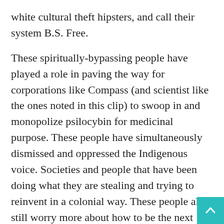white cultural theft hipsters, and call their system B.S. Free.
These spiritually-bypassing people have played a role in paving the way for corporations like Compass (and scientist like the ones noted in this clip) to swoop in and monopolize psilocybin for medicinal purpose. These people have simultaneously dismissed and oppressed the Indigenous voice. Societies and people that have been doing what they are stealing and trying to reinvent in a colonial way. These people also still worry more about how to be the next “cult” research leader and name in the “business,” or have their basis of introductions to others including of a series of questions that invite competition for how much another has explored medicines, and worst throw out questions about pertaining to profit and